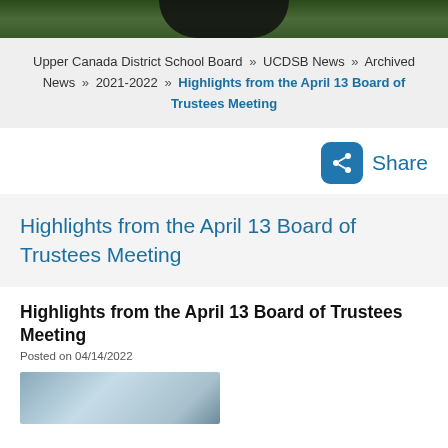[Figure (photo): Top photo bar showing outdoor/nature scene, partially cropped]
Upper Canada District School Board » UCDSB News » Archived News » 2021-2022 » Highlights from the April 13 Board of Trustees Meeting
Share
Highlights from the April 13 Board of Trustees Meeting
Highlights from the April 13 Board of Trustees Meeting
Posted on 04/14/2022
[Figure (photo): Partial photo at the bottom of the page, partially cropped]